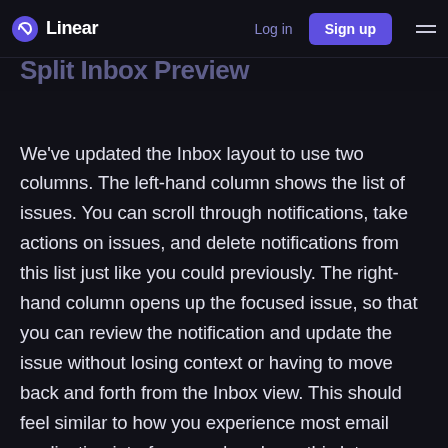Linear  Log in  Sign up
Split Inbox Preview
We've updated the Inbox layout to use two columns. The left-hand column shows the list of issues. You can scroll through notifications, take actions on issues, and delete notifications from this list just like you could previously. The right-hand column opens up the focused issue, so that you can review the notification and update the issue without losing context or having to move back and forth from the Inbox view. This should feel similar to how you experience most email application interfaces and we hope this lets you review notifications in a more productive way.